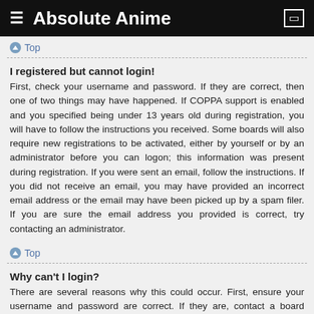Absolute Anime
Top
I registered but cannot login!
First, check your username and password. If they are correct, then one of two things may have happened. If COPPA support is enabled and you specified being under 13 years old during registration, you will have to follow the instructions you received. Some boards will also require new registrations to be activated, either by yourself or by an administrator before you can logon; this information was present during registration. If you were sent an email, follow the instructions. If you did not receive an email, you may have provided an incorrect email address or the email may have been picked up by a spam filer. If you are sure the email address you provided is correct, try contacting an administrator.
Top
Why can't I login?
There are several reasons why this could occur. First, ensure your username and password are correct. If they are, contact a board administrator to make sure you haven't been banned. It is also possible the website owner has a configuration error on their end, and they would need to fix it.
Top